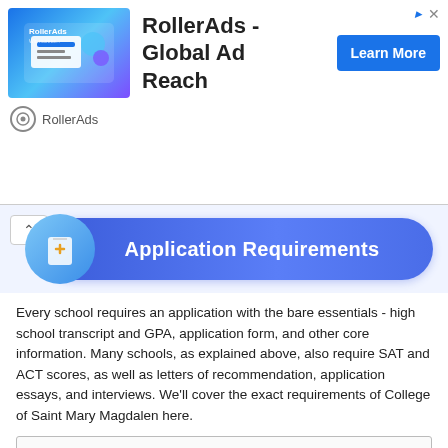[Figure (screenshot): RollerAds advertisement banner with blue graphic, bold text 'RollerAds - Global Ad Reach', a 'Learn More' blue button, and RollerAds branding below.]
Application Requirements
Every school requires an application with the bare essentials - high school transcript and GPA, application form, and other core information. Many schools, as explained above, also require SAT and ACT scores, as well as letters of recommendation, application essays, and interviews. We'll cover the exact requirements of College of Saint Mary Magdalen here.
| Application Requirements Overview |
| --- |
| Common Application |
| Not accepted |
| Universal Application |
| Not accepted |
| Electronic Application |